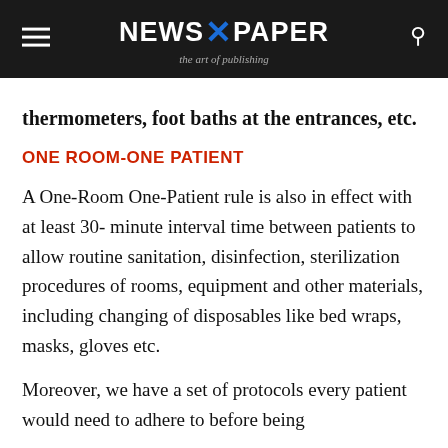NEWSPAPER - the art of publishing
thermometers, foot baths at the entrances, etc.
ONE ROOM-ONE PATIENT
A One-Room One-Patient rule is also in effect with at least 30- minute interval time between patients to allow routine sanitation, disinfection, sterilization procedures of rooms, equipment and other materials, including changing of disposables like bed wraps, masks, gloves etc.
Moreover, we have a set of protocols every patient would need to adhere to before being